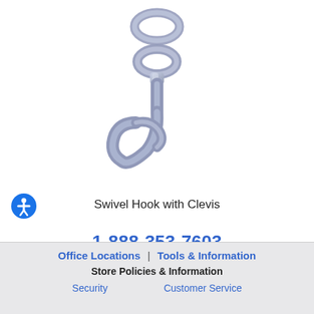[Figure (photo): A metallic swivel hook with clevis/ring attachment, steel/chrome finish, photographed on white background. The hook has a curved J-shape bottom and a swivel ring at the top.]
Swivel Hook with Clevis
1-888-353-7603
Office Locations | Tools & Information
Store Policies & Information
Security
Customer Service